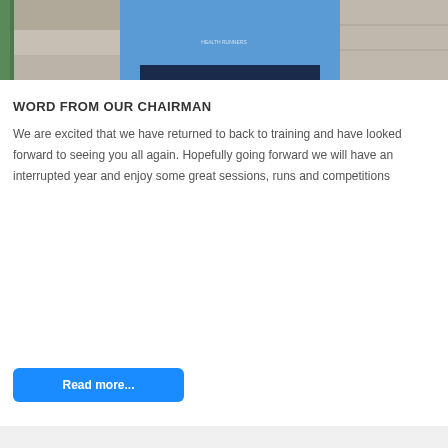[Figure (photo): Person wearing a blue t-shirt, standing outdoors near stone steps and a green railing. The photo is cropped to show the torso area.]
WORD FROM OUR CHAIRMAN
We are excited that we have returned to back to training and have looked forward to seeing you all again. Hopefully going forward we will have an interrupted year and enjoy some great sessions, runs and competitions
Read more...